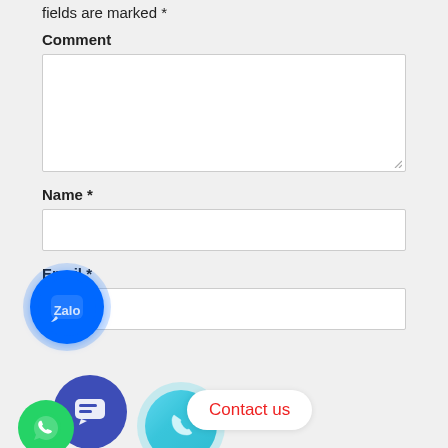fields are marked *
Comment
[Figure (screenshot): Empty comment textarea input box with resize handle]
Name *
[Figure (screenshot): Empty name text input box]
[Figure (logo): Zalo app floating button (blue circle with Zalo logo)]
Email *
[Figure (screenshot): Empty email text input box]
[Figure (infographic): Floating contact buttons: chat bubble (purple), phone (teal), WhatsApp (green), and Contact us popup bubble]